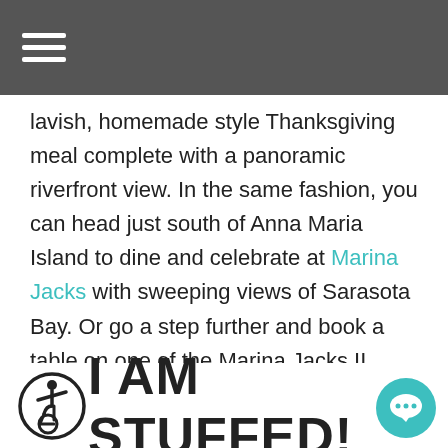lavish, homemade style Thanksgiving meal complete with a panoramic riverfront view. In the same fashion, you can head just south of Anna Maria Island to dine and celebrate at Marina Jacks with sweeping views of Sarasota Bay. Or go a step further and book a table on one of the Marina Jacks II Thanksgiving Dinner Cruises. Sail through the waters and enjoy a spectacular meal and live entertainment. Any of these is sure to create wonderful and special memories for you and your family!
[Figure (logo): Accessibility icon (wheelchair symbol in a circle) followed by bold text 'I AM STUFFED!' and a teal circular chat bubble icon on the right]